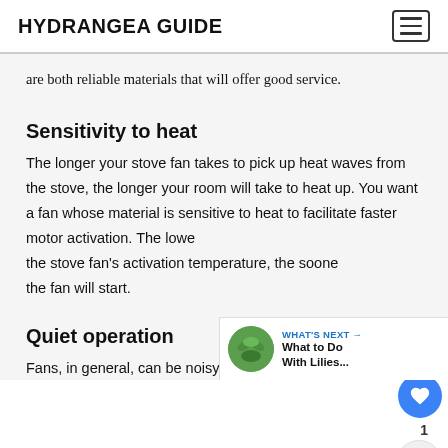HYDRANGEA GUIDE
are both reliable materials that will offer good service.
Sensitivity to heat
The longer your stove fan takes to pick up heat waves from the stove, the longer your room will take to heat up. You want a fan whose material is sensitive to heat to facilitate faster motor activation. The lower the stove fan's activation temperature, the sooner the fan will start.
Quiet operation
Fans, in general, can be noisy that is why you need to